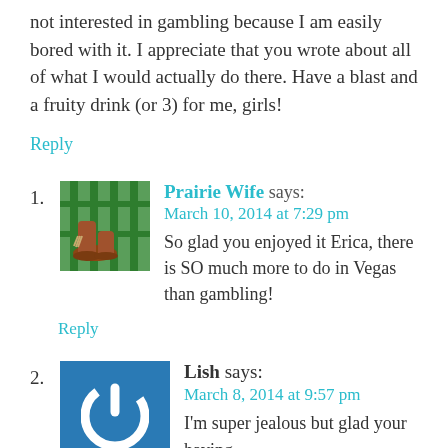not interested in gambling because I am easily bored with it. I appreciate that you wrote about all of what I would actually do there. Have a blast and a fruity drink (or 3) for me, girls!
Reply
1. Prairie Wife says: March 10, 2014 at 7:29 pm — So glad you enjoyed it Erica, there is SO much more to do in Vegas than gambling!
Reply
2. Lish says: March 8, 2014 at 9:57 pm — I'm super jealous but glad your having